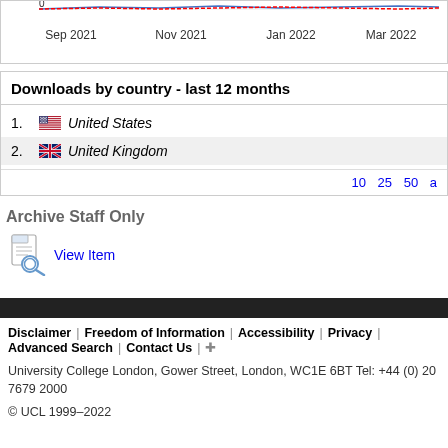[Figure (continuous-plot): Partial view of a line chart showing download trends over time, with x-axis labels Sep 2021, Nov 2021, Jan 2022, Mar 2022. Only the bottom portion of the chart is visible.]
Downloads by country - last 12 months
1. United States
2. United Kingdom
10 25 50 a
Archive Staff Only
View Item
Disclaimer | Freedom of Information | Accessibility | Privacy | Advanced Search | Contact Us | +
University College London, Gower Street, London, WC1E 6BT Tel: +44 (0) 20 7679 2000
© UCL 1999–2022